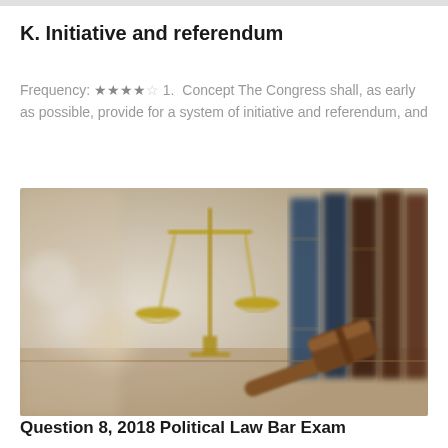K. Initiative and referendum
Frequency: ★★★★☆ 1.  Concept The Congress shall, as early as possible, provide for a system of initiative and referendum, and
[Figure (photo): Photo of legal themed scene with scales of justice (gold balance scales), a wooden gavel, and law books in the background, with blurred bokeh lighting effects]
Question 8, 2018 Political Law Bar Exam